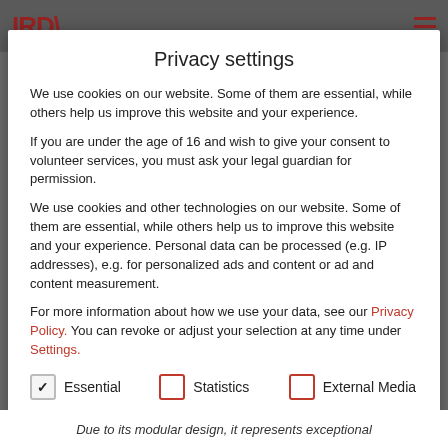IRD [logo] [hamburger menu]
Privacy settings
We use cookies on our website. Some of them are essential, while others help us improve this website and your experience.
If you are under the age of 16 and wish to give your consent to volunteer services, you must ask your legal guardian for permission.
We use cookies and other technologies on our website. Some of them are essential, while others help us to improve this website and your experience. Personal data can be processed (e.g. IP addresses), e.g. for personalized ads and content or ad and content measurement.
For more information about how we use your data, see our Privacy Policy. You can revoke or adjust your selection at any time under Settings.
Essential
Statistics
External Media
Accept all
Due to its modular design, it represents exceptional